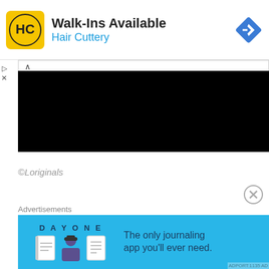[Figure (screenshot): Hair Cuttery advertisement banner with yellow logo showing HC initials, title Walk-Ins Available, subtitle Hair Cuttery in blue, and a blue navigation diamond icon on the right]
[Figure (screenshot): Collapsed panel with caret-up control and a large black redacted rectangle below it]
©Loriginals
[Figure (screenshot): Circular close/dismiss button with X symbol]
Advertisements
[Figure (screenshot): Day One journaling app advertisement on blue background with text: The only journaling app you'll ever need.]